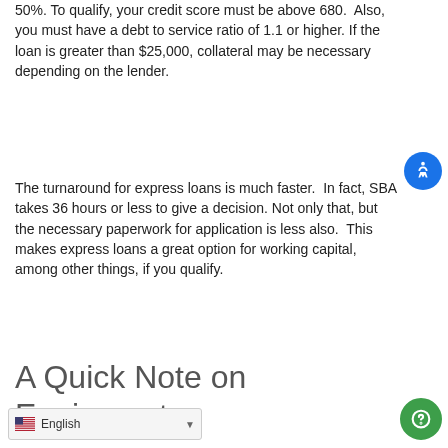50%. To qualify, your credit score must be above 680.  Also, you must have a debt to service ratio of 1.1 or higher. If the loan is greater than $25,000, collateral may be necessary depending on the lender.
The turnaround for express loans is much faster.  In fact, SBA takes 36 hours or less to give a decision. Not only that, but the necessary paperwork for application is less also.  This makes express loans a great option for working capital, among other things, if you qualify.
A Quick Note on Equipment